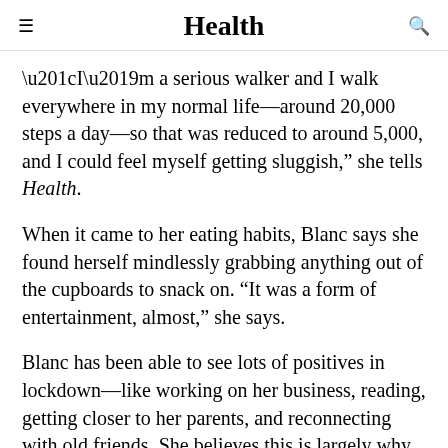Health
“I’m a serious walker and I walk everywhere in my normal life—around 20,000 steps a day—so that was reduced to around 5,000, and I could feel myself getting sluggish,” she tells Health.
When it came to her eating habits, Blanc says she found herself mindlessly grabbing anything out of the cupboards to snack on. “It was a form of entertainment, almost,” she says.
Blanc has been able to see lots of positives in lockdown—like working on her business, reading, getting closer to her parents, and reconnecting with old friends. She believes this is largely why she felt so unbothered by her